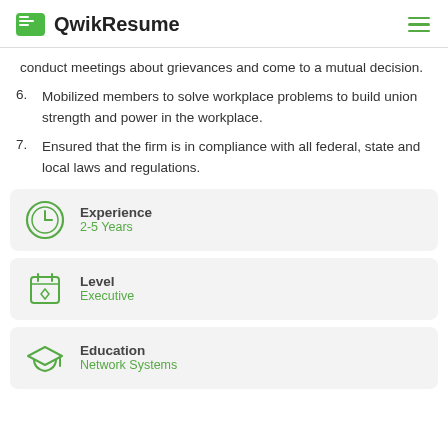QwikResume
conduct meetings about grievances and come to a mutual decision.
6. Mobilized members to solve workplace problems to build union strength and power in the workplace.
7. Ensured that the firm is in compliance with all federal, state and local laws and regulations.
Experience
2-5 Years
Level
Executive
Education
Network Systems